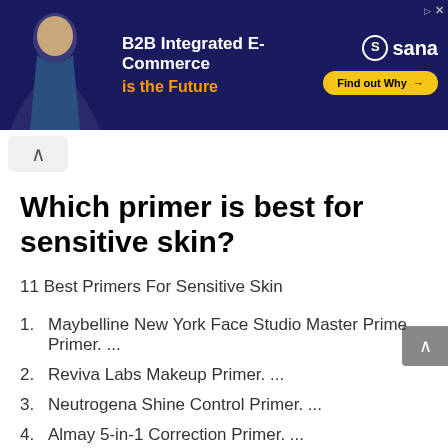[Figure (screenshot): Ad banner: B2B Integrated E-Commerce is the Future - Sana Commerce advertisement with dark navy background, person on left, yellow Find out Why button]
Which primer is best for sensitive skin?
11 Best Primers For Sensitive Skin
1. Maybelline New York Face Studio Master Prime Primer. ...
2. Reviva Labs Makeup Primer. ...
3. Neutrogena Shine Control Primer. ...
4. Almay 5-in-1 Correction Primer. ...
5. Juice Beauty Phyto-Pigments Illuminating Primer.